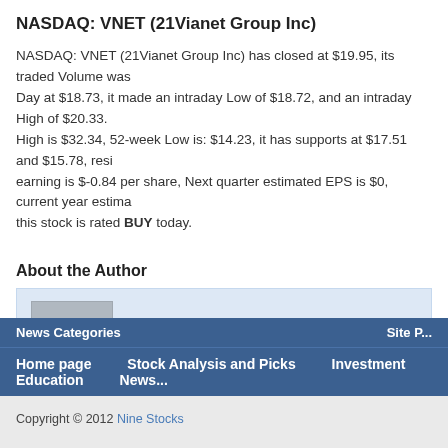NASDAQ: VNET (21Vianet Group Inc)
NASDAQ: VNET (21Vianet Group Inc) has closed at $19.95, its traded Volume was... Day at $18.73, it made an intraday Low of $18.72, and an intraday High of $20.33. High is $32.34, 52-week Low is: $14.23, it has supports at $17.51 and $15.78, resi... earning is $-0.84 per share, Next quarter estimated EPS is $0, current year estima... this stock is rated BUY today.
About the Author
ninestocks has written 14696 stories on this site.
« MACD(12,26,9) Bear Crossover Stocks (Apr. 08)   MACD(12...
News Categories   Site P...   Home page   Stock Analysis and Picks   Investment Education   News...
Copyright © 2012 Nine Stocks